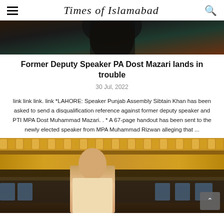Times of Islamabad
[Figure (photo): Top portion of article image showing a bearded man against a dark background]
Former Deputy Speaker PA Dost Mazari lands in trouble
30 Jul, 2022
link link link. link *LAHORE: Speaker Punjab Assembly Sibtain Khan has been asked to send a disqualification reference against former deputy speaker and PTI MPA Dost Muhammad Mazari. . * A 67-page handout has been sent to the newly elected speaker from MPA Muhammad Rizwan alleging that ...
[Figure (photo): Photo of a man in a light colored shirt standing in what appears to be a legislative assembly hall with people seated in background and ornate golden decorative wall panels]